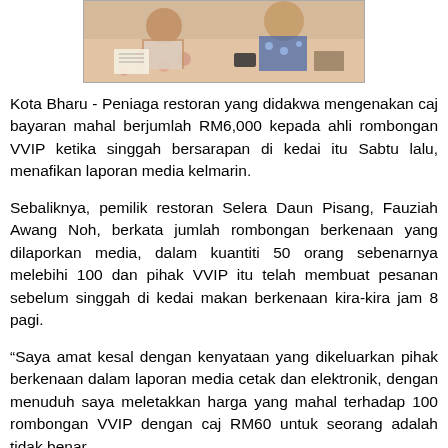[Figure (photo): Partial photo of people sitting at a table, cropped at top of page]
Kota Bharu - Peniaga restoran yang didakwa mengenakan caj bayaran mahal berjumlah RM6,000 kepada ahli rombongan VVIP ketika singgah bersarapan di kedai itu Sabtu lalu, menafikan laporan media kelmarin.
Sebaliknya, pemilik restoran Selera Daun Pisang, Fauziah Awang Noh, berkata jumlah rombongan berkenaan yang dilaporkan media, dalam kuantiti 50 orang sebenarnya melebihi 100 dan pihak VVIP itu telah membuat pesanan sebelum singgah di kedai makan berkenaan kira-kira jam 8 pagi.
“Saya amat kesal dengan kenyataan yang dikeluarkan pihak berkenaan dalam laporan media cetak dan elektronik, dengan menuduh saya meletakkan harga yang mahal terhadap 100 rombongan VVIP dengan caj RM60 untuk seorang adalah tidak benar.
“Harga sebenar ditetapkan RM17 untuk seorang, dengan